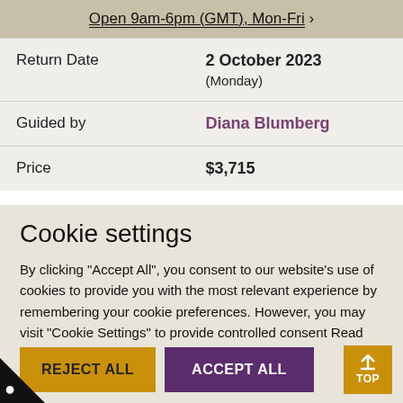Open 9am-6pm (GMT), Mon-Fri >
| Return Date | 2 October 2023
(Monday) |
| Guided by | Diana Blumberg |
| Price | $3,715 |
Cookie settings
By clicking "Accept All", you consent to our website's use of cookies to provide you with the most relevant experience by remembering your cookie preferences. However, you may visit "Cookie Settings" to provide controlled consent Read our cookie policy.
⚙ Cookie settings